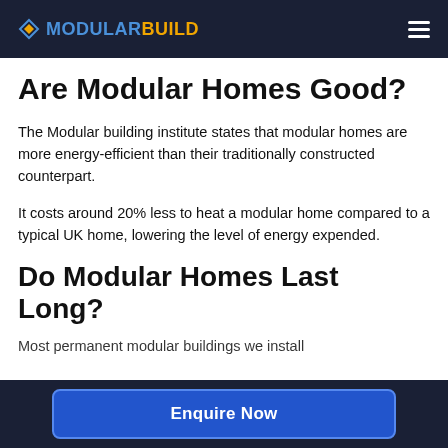MODULARBUILD
Are Modular Homes Good?
The Modular building institute states that modular homes are more energy-efficient than their traditionally constructed counterpart.
It costs around 20% less to heat a modular home compared to a typical UK home, lowering the level of energy expended.
Do Modular Homes Last Long?
Most permanent modular buildings we install
Enquire Now